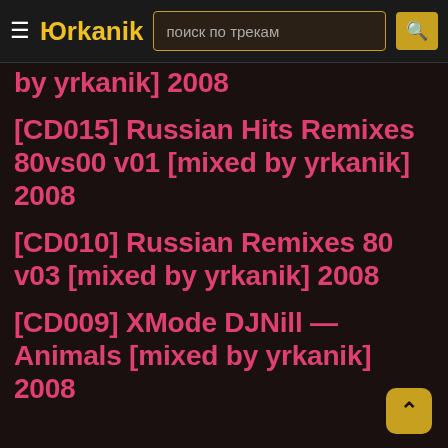Юrkanik — поиск по трекам
by yrkanik] 2008
[CD015] Russian Hits Remixes 80vs00 v01 [mixed by yrkanik] 2008
[CD010] Russian Remixes 80 v03 [mixed by yrkanik] 2008
[CD009] XMode DJNill — Animals [mixed by yrkanik] 2008